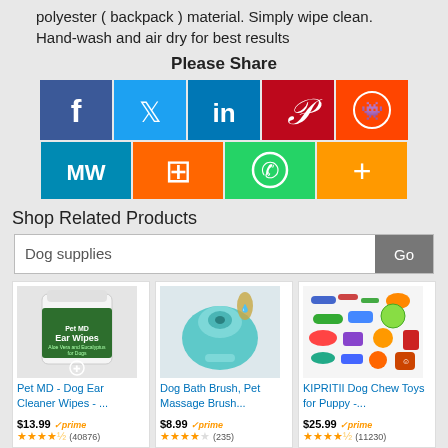polyester ( backpack ) material. Simply wipe clean. Hand-wash and air dry for best results
Please Share
[Figure (other): Social share buttons: Facebook, Twitter, LinkedIn, Pinterest, Reddit, MW, Mix, WhatsApp, More]
Shop Related Products
Dog supplies [search box with Go button]
[Figure (photo): Pet MD - Dog Ear Cleaner Wipes product image]
Pet MD - Dog Ear Cleaner Wipes - ...
$13.99 prime (40876) 4.5 stars
[Figure (photo): Dog Bath Brush, Pet Massage Brush product image]
Dog Bath Brush, Pet Massage Brush...
$8.99 prime (235) 4 stars
[Figure (photo): KIPRITII Dog Chew Toys for Puppy product image]
KIPRITII Dog Chew Toys for Puppy -...
$25.99 prime (11230) 4.5 stars